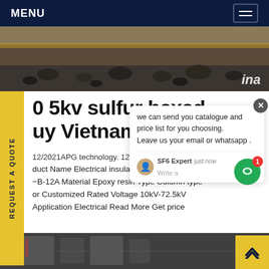MENU
[Figure (photo): Construction site with gravel/aggregate piles and yellow excavation equipment. Text 'ina' partially visible at bottom right.]
O 5kv sulfur hexa d uy Vietnam
12/2021 APG technology. 12kV, 24kV
Product Name Electrical insulator Brand NCE Model B-12A Material Epoxy resin Type Column type or Customized Rated Voltage 10kV-72.5kV Application Electrical Read More Get price
[Figure (photo): Interior industrial/electrical equipment room with equipment racks visible.]